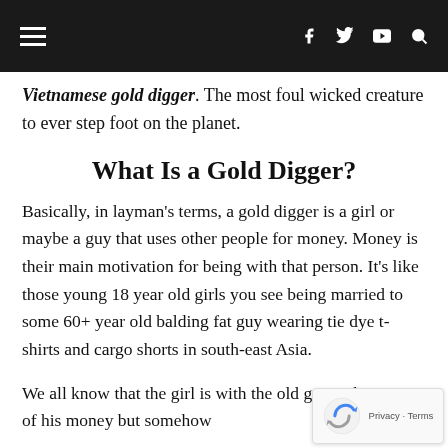≡  f  𝕏  ▶  🔍
Vietnamese gold digger. The most foul wicked creature to ever step foot on the planet.
What Is a Gold Digger?
Basically, in layman's terms, a gold digger is a girl or maybe a guy that uses other people for money. Money is their main motivation for being with that person. It's like those young 18 year old girls you see being married to some 60+ year old balding fat guy wearing tie dye t-shirts and cargo shorts in south-east Asia.
We all know that the girl is with the old geezer because of his money but somehow he manages to convince himself...